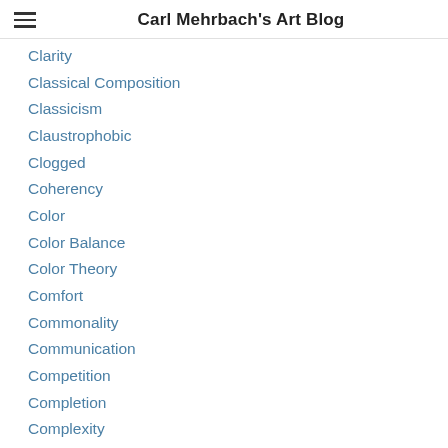Carl Mehrbach's Art Blog
Clarity
Classical Composition
Classicism
Claustrophobic
Clogged
Coherency
Color
Color Balance
Color Theory
Comfort
Commonality
Communication
Competition
Completion
Complexity
Composition
Compositional Density
Compound